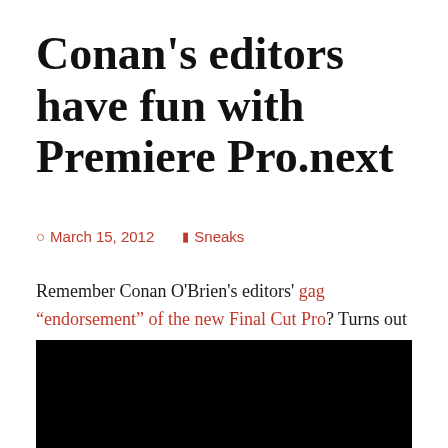Conan's editors have fun with Premiere Pro.next
March 15, 2012   Sneaks
Remember Conan O'Brien's editors' gag "endorsement" of the new Final Cut Pro? Turns out they've taken a real shine to Premiere Pro. Check out their demo of "the Freddy Mercury Playback Engine" and more:
[Figure (other): Black video embed area at the bottom of the article]